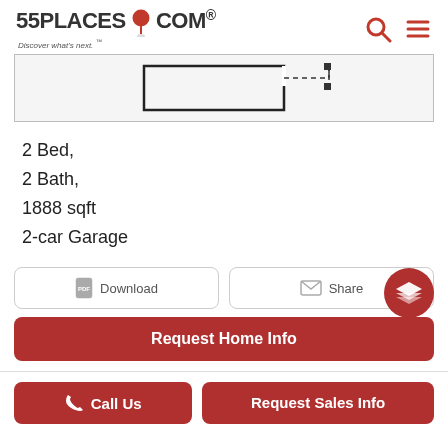[Figure (logo): 55PLACES.COM logo with red map pin icon and tagline 'Discover what's next.']
[Figure (engineering-diagram): Partial floor plan showing room outlines with solid and dashed lines]
2 Bed,
2 Bath,
1888 sqft
2-car Garage
[Figure (other): Download button with PDF icon]
[Figure (other): Share button with envelope icon]
[Figure (other): Request Home Info red button]
[Figure (other): Floating red circle with stacked layers icon]
[Figure (other): Call Us red button with phone icon]
[Figure (other): Request Sales Info red button]